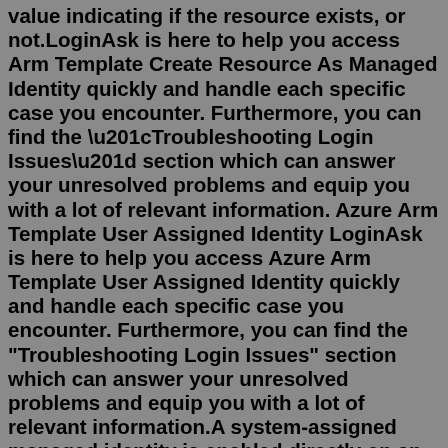value indicating if the resource exists, or not.LoginAsk is here to help you access Arm Template Create Resource As Managed Identity quickly and handle each specific case you encounter. Furthermore, you can find the “Troubleshooting Login Issues” section which can answer your unresolved problems and equip you with a lot of relevant information. Azure Arm Template User Assigned Identity LoginAsk is here to help you access Azure Arm Template User Assigned Identity quickly and handle each specific case you encounter. Furthermore, you can find the "Troubleshooting Login Issues" section which can answer your unresolved problems and equip you with a lot of relevant information.A system-assigned managed identity is enabled directly on an Azure service instance. When the identity is enabled, Azure creates an identity for the instance in the Azure AD tenant that's trusted by the subscription of the instance. ... from template fix fixes templates from old versions of packer inspect see components of a template validate